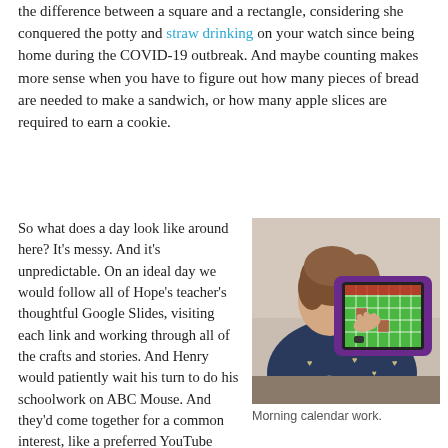the difference between a square and a rectangle, considering she conquered the potty and straw drinking on your watch since being home during the COVID-19 outbreak. And maybe counting makes more sense when you have to figure out how many pieces of bread are needed to make a sandwich, or how many apple slices are required to earn a cookie.
So what does a day look like around here? It's messy. And it's unpredictable. On an ideal day we would follow all of Hope's teacher's thoughtful Google Slides, visiting each link and working through all of the crafts and stories. And Henry would patiently wait his turn to do his schoolwork on ABC Mouse. And they'd come together for a common interest, like a preferred YouTube video or a counting game. That might have happened once, maybe twice, in the 7 weeks that we've
[Figure (photo): A young girl with brown hair tied back, wearing a navy blue long-sleeve shirt with gold heart patterns, using a purple tablet/iPad in a protective case. The tablet screen shows a colorful calendar or grid-based educational app in green and red. The girl is seen from behind/side profile, touching the screen with her right hand.]
Morning calendar work.